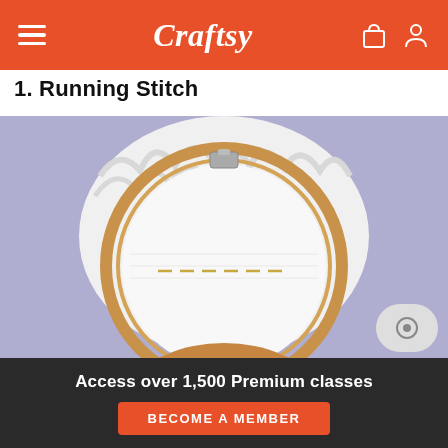Craftsy
1. Running Stitch
[Figure (photo): A hand holding a wooden embroidery hoop with white fabric stretched over it, showing a running stitch in gold thread, against a lavender/periwinkle purple background.]
Access over 1,500 Premium classes
BECOME A MEMBER